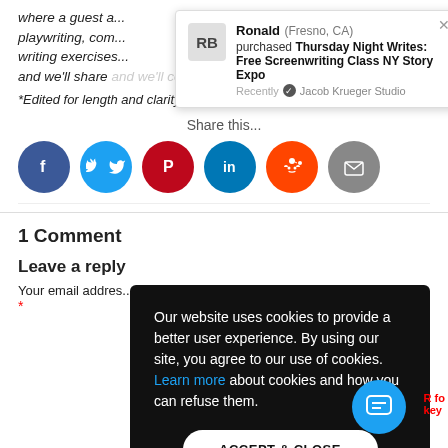where a guest a... playwriting, com... writing exercises... and we'll share and we'll connect. Go come join us.
*Edited for length and clarity
Share this...
[Figure (infographic): Social share buttons: Facebook, Twitter, Pinterest, LinkedIn, Reddit, Email]
[Figure (infographic): Notification popup: Ronald (Fresno, CA) purchased Thursday Night Writes: Free Screenwriting Class NY Story Expo. Recently verified by Jacob Krueger Studio.]
1 Comment
Leave a reply
Your email addres...
[Figure (infographic): Cookie consent overlay: Our website uses cookies to provide a better user experience. By using our site, you agree to our use of cookies. Learn more about cookies and how you can refuse them. ACCEPT & CLOSE button.]